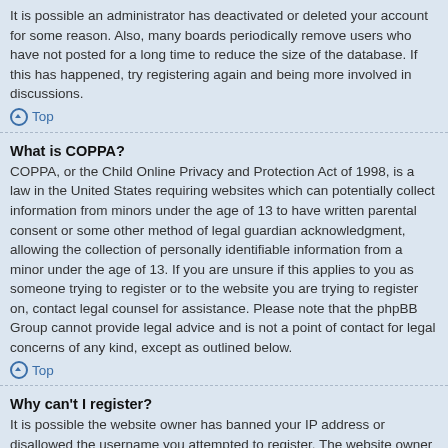It is possible an administrator has deactivated or deleted your account for some reason. Also, many boards periodically remove users who have not posted for a long time to reduce the size of the database. If this has happened, try registering again and being more involved in discussions.
Top
What is COPPA?
COPPA, or the Child Online Privacy and Protection Act of 1998, is a law in the United States requiring websites which can potentially collect information from minors under the age of 13 to have written parental consent or some other method of legal guardian acknowledgment, allowing the collection of personally identifiable information from a minor under the age of 13. If you are unsure if this applies to you as someone trying to register or to the website you are trying to register on, contact legal counsel for assistance. Please note that the phpBB Group cannot provide legal advice and is not a point of contact for legal concerns of any kind, except as outlined below.
Top
Why can't I register?
It is possible the website owner has banned your IP address or disallowed the username you attempted to register. The website owner could have also disabled registration to prevent new visitors from signing up. Contact the board administrator for assistance.
Top
What does the “Delete all board cookies” do?
“Delete all board cookies” deletes the cookies created by phpBB which keep you authenticated and logged into the board. It also provides functions such as read tracking if they have been enabled by the board owner. If you are having login or logout problems, deleting board cookies may help.
Top